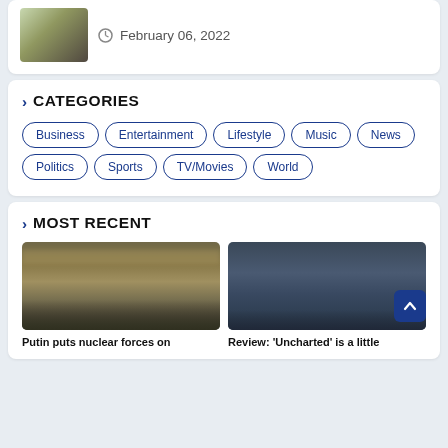February 06, 2022
CATEGORIES
Business
Entertainment
Lifestyle
Music
News
Politics
Sports
TV/Movies
World
MOST RECENT
[Figure (photo): Military tanks on a field with smoke and explosions in the background]
[Figure (photo): Two young men holding weapons, appearing to be actors from the Uncharted movie]
Putin puts nuclear forces on
Review: 'Uncharted' is a little